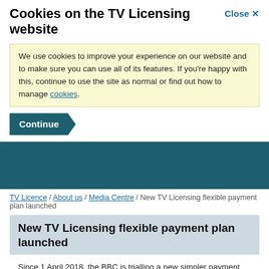Cookies on the TV Licensing website
Close ×
We use cookies to improve your experience on our website and to make sure you can use all of its features. If you're happy with this, continue to use the site as normal or find out how to manage cookies.
Continue
TV Licence / About us / Media Centre / New TV Licensing flexible payment plan launched
New TV Licensing flexible payment plan launched
Since 1 April 2018, the BBC is trialling a new simpler payment plan for the licence fee. The government changed the rules on 9 March 2018 allowing the BBC to introduce this pilot scheme to help people who are struggling to pay or to keep up with payments.
Customers on the new plan will still pay the same amount of licence fee